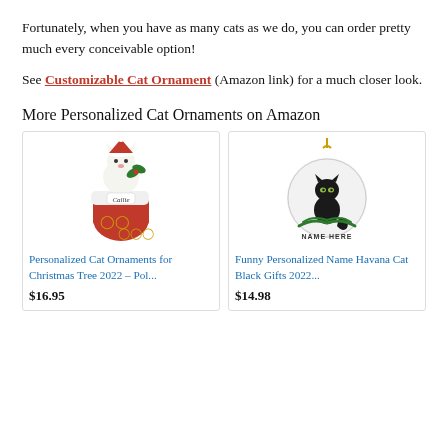Fortunately, when you have as many cats as we do, you can order pretty much every conceivable option!
See Customizable Cat Ornament (Amazon link) for a much closer look.
More Personalized Cat Ornaments on Amazon
[Figure (photo): Product image of a personalized cat ornament – white cat in a red Christmas stocking with name 'Callie' on it and green holly.]
Personalized Cat Ornaments for Christmas Tree 2022 – Pol...
$16.95
[Figure (photo): Product image of a circular ornament with a black Havana cat sitting on pine branches, with 'NAME HERE' text below the cat on the ornament, hanging from a gold hook.]
Funny Personalized Name Havana Cat Black Gifts 2022...
$14.98